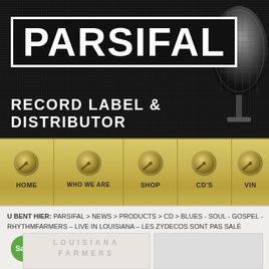[Figure (screenshot): Parsifal Record Label & Distributor website header with dark textured background and microphone silhouette]
PARSIFAL
RECORD LABEL & DISTRIBUTOR
[Figure (screenshot): Navigation bar with gold/brass colored background and knob icons for HOME, WHO WE ARE, SHOP, CD'S, VINYL]
U BENT HIER: PARSIFAL > NEWS > PRODUCTS > CD > BLUES - SOUL - GOSPEL - RHYTHM FARMERS – LIVE IN LOUISIANA – LES ZYDECOS SONT PAS SALÉ
Sale!